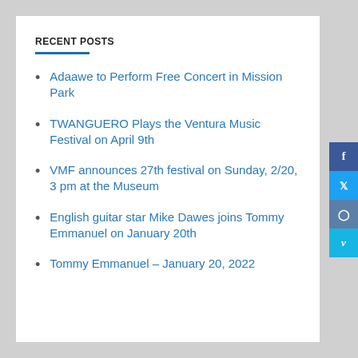RECENT POSTS
Adaawe to Perform Free Concert in Mission Park
TWANGUERO Plays the Ventura Music Festival on April 9th
VMF announces 27th festival on Sunday, 2/20, 3 pm at the Museum
English guitar star Mike Dawes joins Tommy Emmanuel on January 20th
Tommy Emmanuel – January 20, 2022